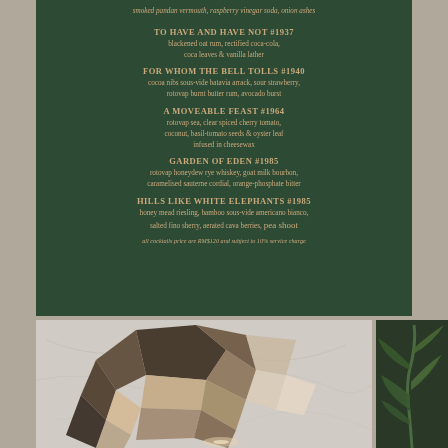rotovap fresh ... smoked pandan vermouth, raspberry vinegar soda, onion ashes
TO HAVE AND HAVE NOT #1937 — blackened oat rum, rectified coca-cola, coca leaves & vanilla lather
FOR WHOM THE BELL TOLLS #1940 — cocoa nibs sous-vide batavia arrack, sour strawberry, rotovap burnt butter rum, avocado burst
A MOVEABLE FEAST #1964 — rotovap sea, clear spiced cherry tomato, coconut, basil-tomato seeds & oyster leaf infused in cheesewax
GARDEN OF EDEN #1985 — rotovap honeydew rye whiskey, goat milk bourbon, caramelised sauterne cordial, orange-phosphate bitter
HILLS LIKE WHITE ELEPHANTS #1985 — honey mead riesling, bamboo sous-vide americano bianco, salted fino sherry, aerated cava berries, pea shoot
all cocktails price are RM$120 and subject to 10% service charge
[Figure (photo): Geometric polygonal sculpture made of cardboard/paper on marble surface]
[Figure (photo): Green tropical plant against dark background]